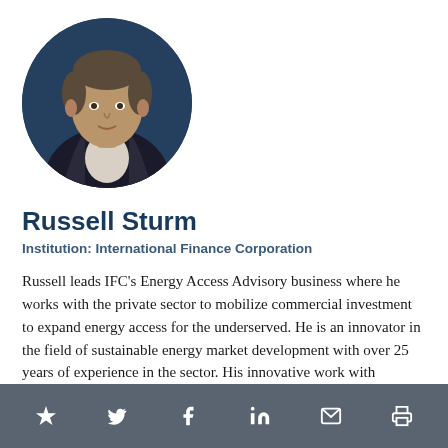[Figure (photo): Circular portrait photo of Russell Sturm, a middle-aged man in a dark jacket speaking at an event against a dark blue background.]
Russell Sturm
Institution: International Finance Corporation
Russell leads IFC's Energy Access Advisory business where he works with the private sector to mobilize commercial investment to expand energy access for the underserved. He is an innovator in the field of sustainable energy market development with over 25 years of experience in the sector. His innovative work with commercial banks catalyzed IFC's $1 billion sustainable energy finance business. Russel established the World Bank Group's Lighting Africa and Lighting Global program. Prior to
★ 𝕏 f in ✉ 🖨